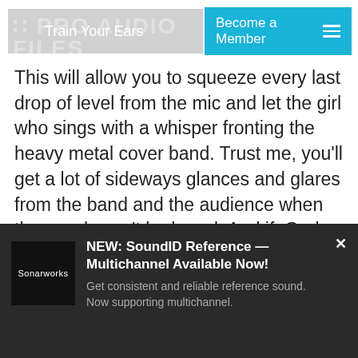PRO AUDIO FILES — Train Your Ears | Become a Member
This will allow you to squeeze every last drop of level from the mic and let the girl who sings with a whisper fronting the heavy metal cover band. Trust me, you'll get a lot of sideways glances and glares from the band and the audience when the vocals can't be heard. And if, God forbid, you induce a bit of feedback trying to make the vocals audible, you can fully expect as many faces as are present to turn around and look at you while holding their ears. They don't know
NEW: SoundID Reference — Multichannel Available Now! Get consistent and reliable reference sound. Now supporting multichannel.